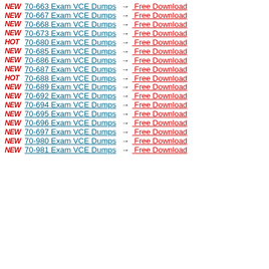NEW 70-663 Exam VCE Dumps → Free Download
NEW 70-667 Exam VCE Dumps → Free Download
NEW 70-668 Exam VCE Dumps → Free Download
NEW 70-673 Exam VCE Dumps → Free Download
HOT 70-680 Exam VCE Dumps → Free Download
NEW 70-685 Exam VCE Dumps → Free Download
NEW 70-686 Exam VCE Dumps → Free Download
NEW 70-687 Exam VCE Dumps → Free Download
HOT 70-688 Exam VCE Dumps → Free Download
NEW 70-689 Exam VCE Dumps → Free Download
NEW 70-692 Exam VCE Dumps → Free Download
NEW 70-694 Exam VCE Dumps → Free Download
NEW 70-695 Exam VCE Dumps → Free Download
NEW 70-696 Exam VCE Dumps → Free Download
NEW 70-697 Exam VCE Dumps → Free Download
NEW 70-980 Exam VCE Dumps → Free Download
NEW 70-981 Exam VCE Dumps → Free Download